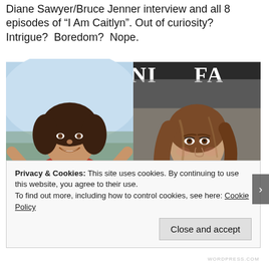Diane Sawyer/Bruce Jenner interview and all 8 episodes of "I Am Caitlyn". Out of curiosity? Intrigue? Boredom? Nope.
[Figure (photo): Side-by-side photos: left shows Bruce Jenner in a red USA athletic jersey smiling with arms raised; right shows Caitlyn Jenner on a Vanity Fair magazine cover in a white strapless top with long brown hair.]
Privacy & Cookies: This site uses cookies. By continuing to use this website, you agree to their use.
To find out more, including how to control cookies, see here: Cookie Policy
Close and accept